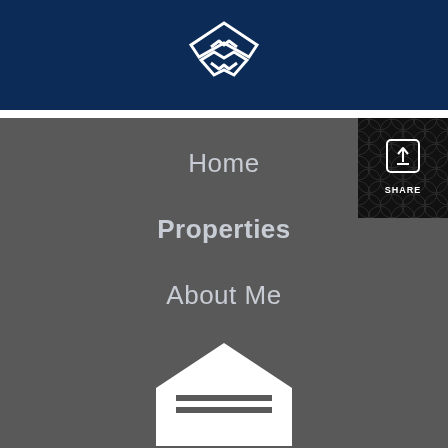[Figure (logo): White diamond/angular logo mark on dark navy blue background]
Home
Properties
About Me
Blog
Neighborhood News
[Figure (illustration): Share button with upload icon and SHARE text on black patterned background]
[Figure (illustration): White house/garage icon at bottom of page]